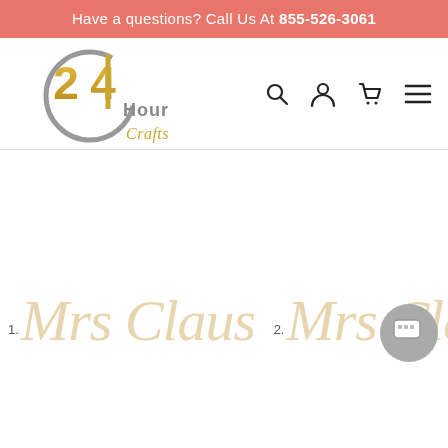Have a questions? Call Us At 855-526-3061
[Figure (logo): 24 Hour Crafts logo — circular grey arc with gold '24' and grey 'Hour Crafts' text]
[Figure (illustration): Wooden laser-cut script text showing '1. Mrs Claus  2. Mrs Cla...' in decorative cursive style, natural wood color]